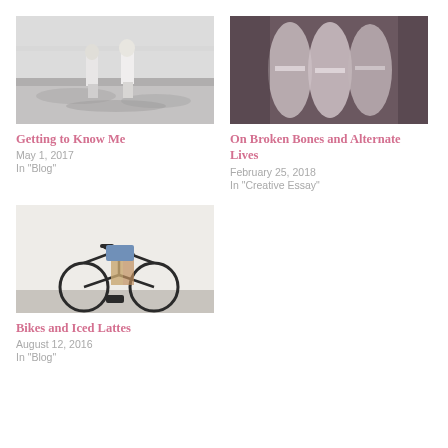[Figure (photo): Black and white photo of two women standing on a rocky beach, viewed from behind]
Getting to Know Me
May 1, 2017
In "Blog"
[Figure (photo): X-ray image of foot/toes bones in purple-brown tones]
On Broken Bones and Alternate Lives
February 25, 2018
In "Creative Essay"
[Figure (photo): Person standing with a bicycle against a white wall, wearing denim shorts]
Bikes and Iced Lattes
August 12, 2016
In "Blog"